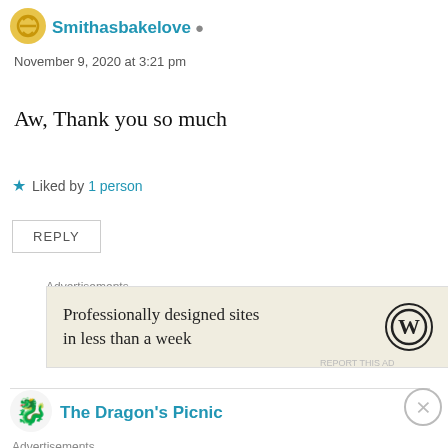Smithasbakelove
November 9, 2020 at 3:21 pm
Aw, Thank you so much
Liked by 1 person
REPLY
Advertisements
[Figure (other): WordPress advertisement banner: Professionally designed sites in less than a week, with WordPress logo]
REPORT THIS AD
The Dragon's Picnic
Advertisements
[Figure (other): Dark advertisement banner: Launch your online course with WordPress, with Learn More button]